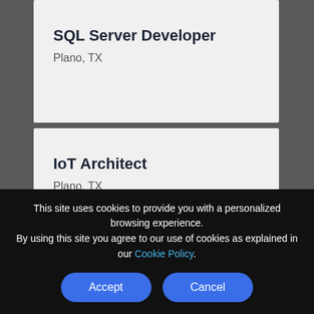SQL Server Developer
Plano, TX
IoT Architect
Plano, TX
This site uses cookies to provide you with a personalized browsing experience. By using this site you agree to our use of cookies as explained in our Cookie Policy.
Accept
Cancel